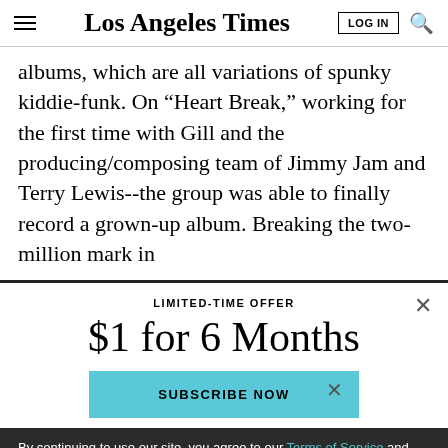Los Angeles Times
albums, which are all variations of spunky kiddie-funk. On “Heart Break,” working for the first time with Gill and the producing/composing team of Jimmy Jam and Terry Lewis--the group was able to finally record a grown-up album. Breaking the two-million mark in
LIMITED-TIME OFFER
$1 for 6 Months
SUBSCRIBE NOW
By continuing to use our site, you agree to our Terms of Service and Privacy Policy. You can learn more about how we use cookies by reviewing our Privacy Policy. Close